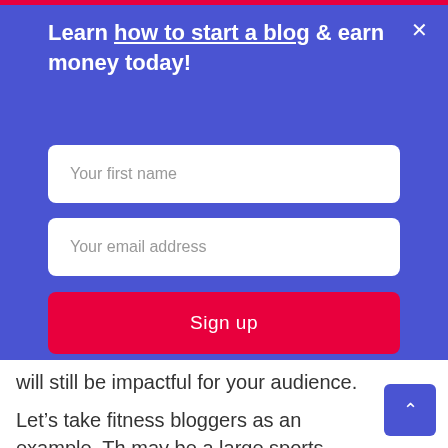Learn how to start a blog & earn money today!
Your first name
Your email address
Sign up
will still be impactful for your audience.
Let's take fitness bloggers as an example. The may be a large sports competition going on, opening of a new gym chain.